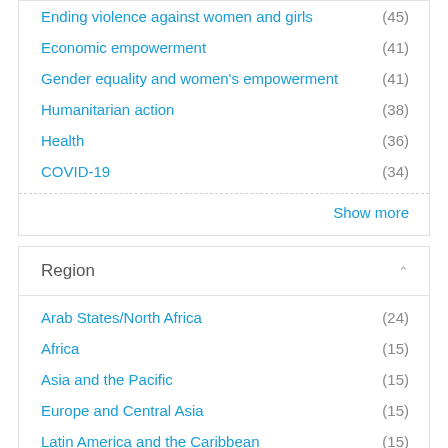Ending violence against women and girls (45)
Economic empowerment (41)
Gender equality and women's empowerment (41)
Humanitarian action (38)
Health (36)
COVID-19 (34)
Show more
Region
Arab States/North Africa (24)
Africa (15)
Asia and the Pacific (15)
Europe and Central Asia (15)
Latin America and the Caribbean (15)
OECD DAC Donors and Other Countries (15)
European Union (7)